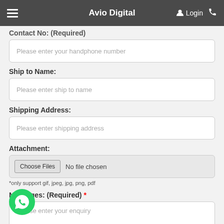Avio Digital
Contact No: (Required)
Please enter your handphone number
Ship to Name:
Please enter ship to name
Shipping Address:
Please enter shipping address
Attachment:
Choose Files  No file chosen
*only support gif, jpeg, jpg, png, pdf
Messages: (Required) *
Please enter your enquiry